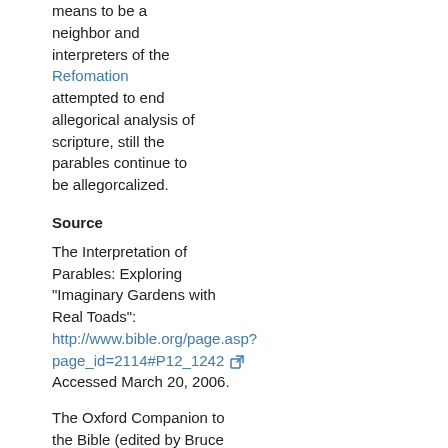means to be a neighbor and interpreters of the Refomation attempted to end allegorical analysis of scripture, still the parables continue to be allegorcalized.
Source
The Interpretation of Parables: Exploring "Imaginary Gardens with Real Toads": http://www.bible.org/page.asp?page_id=2114#P12_1242 Accessed March 20, 2006.
The Oxford Companion to the Bible (edited by Bruce M. Metzger and Michael D. Coogan, Oxford: Oxford University Press, 1993, pages 567-570, Robert H. Stein's article on "parables")
The Parables of Jesus in Recent Study: http://www.luthersem.edu/word&3_imagination/5-3_Stein.pdf